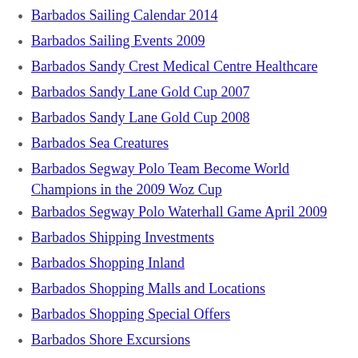Barbados Sailing Calendar 2014
Barbados Sailing Events 2009
Barbados Sandy Crest Medical Centre Healthcare
Barbados Sandy Lane Gold Cup 2007
Barbados Sandy Lane Gold Cup 2008
Barbados Sea Creatures
Barbados Segway Polo Team Become World Champions in the 2009 Woz Cup
Barbados Segway Polo Waterhall Game April 2009
Barbados Shipping Investments
Barbados Shopping Inland
Barbados Shopping Malls and Locations
Barbados Shopping Special Offers
Barbados Shore Excursions
Barbados Signs a New Economic Partnership Agreement (EPA) with Europe
Barbados Small Hotels
Barbados Snorkeling Guide
Barbados Social Media Networks